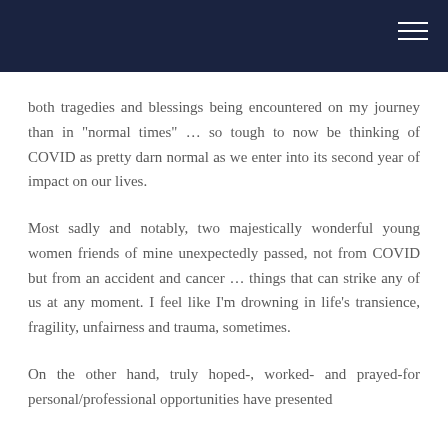both tragedies and blessings being encountered on my journey than in "normal times" … so tough to now be thinking of COVID as pretty darn normal as we enter into its second year of impact on our lives.
Most sadly and notably, two majestically wonderful young women friends of mine unexpectedly passed, not from COVID but from an accident and cancer … things that can strike any of us at any moment. I feel like I'm drowning in life's transience, fragility, unfairness and trauma, sometimes.
On the other hand, truly hoped-, worked- and prayed-for personal/professional opportunities have presented